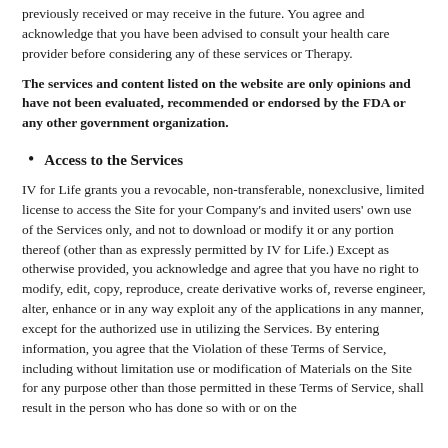previously received or may receive in the future. You agree and acknowledge that you have been advised to consult your health care provider before considering any of these services or Therapy.
The services and content listed on the website are only opinions and have not been evaluated, recommended or endorsed by the FDA or any other government organization.
Access to the Services
IV for Life grants you a revocable, non-transferable, nonexclusive, limited license to access the Site for your Company's and invited users' own use of the Services only, and not to download or modify it or any portion thereof (other than as expressly permitted by IV for Life.) Except as otherwise provided, you acknowledge and agree that you have no right to modify, edit, copy, reproduce, create derivative works of, reverse engineer, alter, enhance or in any way exploit any of the applications in any manner, except for the authorized use in utilizing the Services. By entering information, you agree that the Violation of these Terms of Service, including without limitation use or modification of Materials on the Site for any purpose other than those permitted in these Terms of Service, shall result in the person who has done so with or on the...